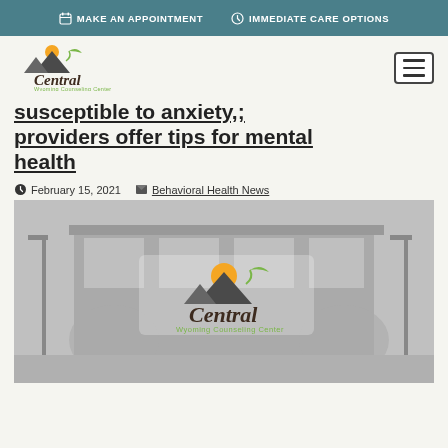MAKE AN APPOINTMENT   IMMEDIATE CARE OPTIONS
[Figure (logo): Central Wyoming Counseling Center logo with mountain and sun graphic]
susceptible to anxiety,; providers offer tips for mental health
February 15, 2021   Behavioral Health News
[Figure (photo): Central Wyoming Counseling Center building exterior in grayscale with Central Wyoming Counseling Center logo overlaid in center]